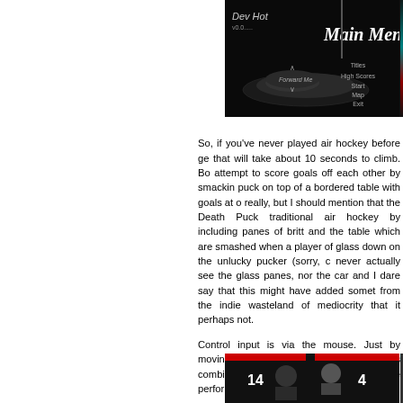[Figure (screenshot): Screenshot of an air hockey video game showing the Main Menu screen with a dark background and menu options]
[Figure (screenshot): Partial screenshot of gameplay showing a teal circle and red triangle on dark background]
So, if you've never played air hockey before ge that will take about 10 seconds to climb. Bo attempt to score goals off each other by smackin puck on top of a bordered table with goals at o really, but I should mention that the Death Puck traditional air hockey by including panes of britt and the table which are smashed when a player of glass down on the unlucky pucker (sorry, c never actually see the glass panes, nor the car and I dare say that this might have added somet from the indie wasteland of mediocrity that it perhaps not.
Control input is via the mouse. Just by moving t his paddle, and by making various combination special moves can be performed once the "spe has filled to 100%.
[Figure (screenshot): Bottom screenshot showing gameplay HUD with player numbers 14 and 4, character portraits in dark red UI]
[Figure (screenshot): Partial bottom right screenshot of gameplay]